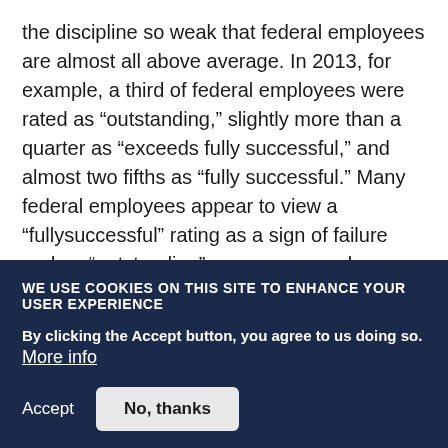the discipline so weak that federal employees are almost all above average. In 2013, for example, a third of federal employees were rated as “outstanding,” slightly more than a quarter as “exceeds fully successful,” and almost two fifths as “fully successful.” Many federal employees appear to view a “fullysuccessful” rating as a sign of failure and an “outstanding” as an easy mark.
Even the federal government’s prestigious Senior Executive Service (SES ) has its own appraisal
WE USE COOKIES ON THIS SITE TO ENHANCE YOUR USER EXPERIENCE
By clicking the Accept button, you agree to us doing so. More info
Accept   No, thanks